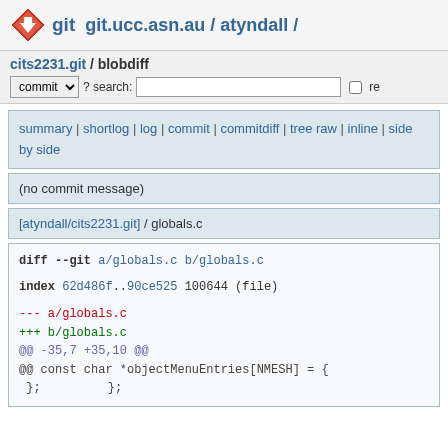git  git.ucc.asn.au / atyndall /
cits2231.git / blobdiff
commit ? search: re
summary | shortlog | log | commit | commitdiff | tree raw | inline | side by side
(no commit message)
[atyndall/cits2231.git] / globals.c
diff --git a/globals.c b/globals.c
index 62d486f..90ce525 100644 (file)
--- a/globals.c
+++ b/globals.c
@@ -35,7 +35,10 @@
@@ const char *objectMenuEntries[NMESH] = {
 }; };